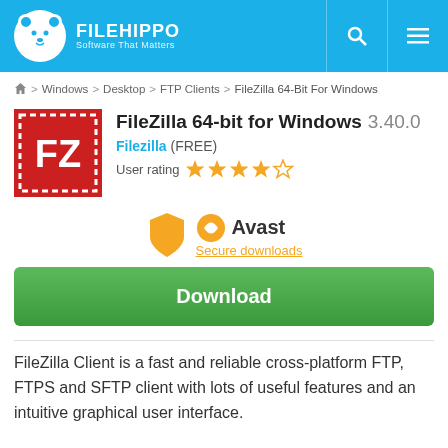FILEHIPPO Software That Matters
Home > Windows > Desktop > FTP Clients > FileZilla 64-Bit For Windows
FileZilla 64-bit for Windows 3.40.0
Filezilla (FREE)
User rating 4/5 stars
[Figure (logo): Avast Secure downloads badge with shield icon]
Download
FileZilla Client is a fast and reliable cross-platform FTP, FTPS and SFTP client with lots of useful features and an intuitive graphical user interface.